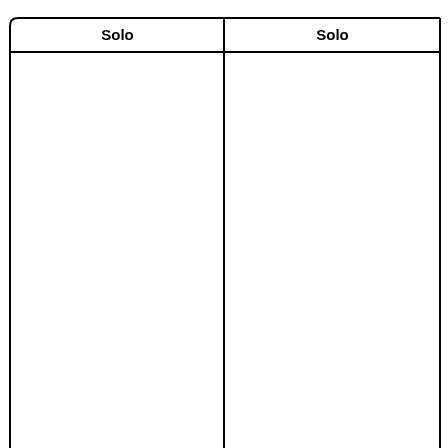| Solo | Solo |
| --- | --- |
|  |  |